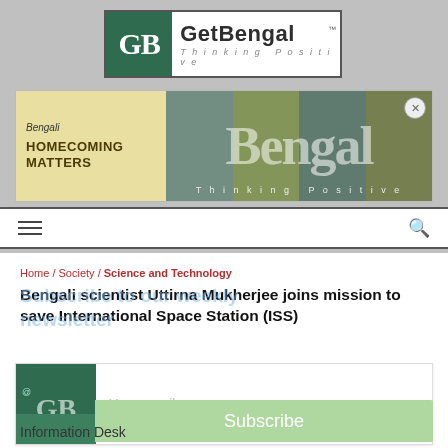[Figure (logo): GetBengal logo with GB monogram and 'Thinking Positive' tagline]
[Figure (infographic): GetBengal banner advertisement with 'HOMECOMING MATTERS' text and Bengali branding overlay]
Navigation bar with hamburger menu and search icon
Home / Society / Science and Technology
Bengali scientist Uttirna Mukherjee joins mission to save International Space Station (ISS)
[Figure (infographic): Newsletter subscription box with GB logo, email input, and Subscribe button]
Subscribe to our weekly newsletter
Information Desk